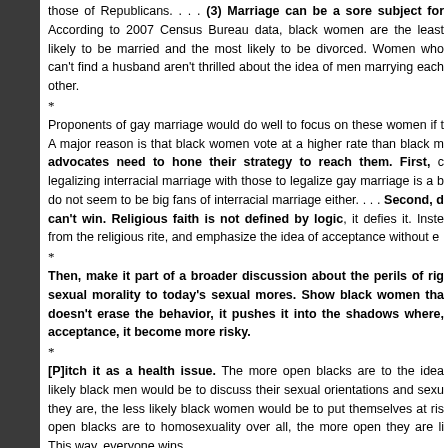those of Republicans. . . . (3) Marriage can be a sore subject for According to 2007 Census Bureau data, black women are the least likely to be married and the most likely to be divorced. Women who can't find a husband aren't thrilled about the idea of men marrying each other.
*
Proponents of gay marriage would do well to focus on these women if they want to win. A major reason is that black women vote at a higher rate than black men. gay marriage advocates need to hone their strategy to reach them. First, comparing legalizing interracial marriage with those to legalize gay marriage is a bad idea. Blacks do not seem to be big fans of interracial marriage either. . . . Second, don't argue logic, you can't win. Religious faith is not defined by logic, it defies it. Instead, separate the civil from the religious rite, and emphasize the idea of acceptance without endorsement.
*
Then, make it part of a broader discussion about the perils of rigid application of sexual morality to today's sexual mores. Show black women that shaming behavior doesn't erase the behavior, it pushes it into the shadows where, without social acceptance, it become more risky.
*
[P]itch it as a health issue. The more open blacks are to the idea of homosexuality, the more likely black men would be to discuss their sexual orientations and sexual behavior. The more they are, the less likely black women would be to put themselves at risk. And, the more open blacks are to homosexuality over all, the more open they are likely to be to bisexuality. This way, everyone wins.
Posted by Michael-in-Norfolk at Saturday, November 29, 2008   1 com